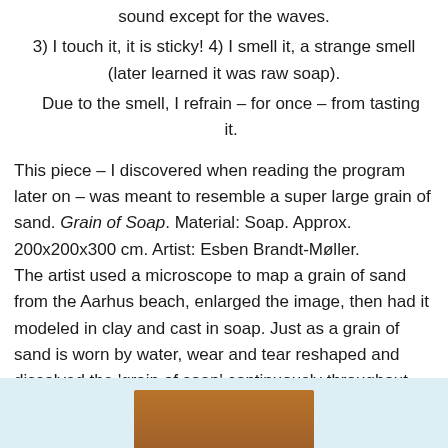sound except for the waves.
3) I touch it, it is sticky! 4) I smell it, a strange smell (later learned it was raw soap).
Due to the smell, I refrain – for once – from tasting it.
This piece – I discovered when reading the program later on – was meant to resemble a super large grain of sand. Grain of Soap. Material: Soap. Approx. 200x200x300 cm. Artist: Esben Brandt-Møller. The artist used a microscope to map a grain of sand from the Aarhus beach, enlarged the image, then had it modeled in clay and cast in soap. Just as a grain of sand is worn by water, wear and tear reshaped and dissolved the 'grain of soap' continuously throughout the exhibition. A thought-provoking idea.
[Figure (photo): Bottom portion of page showing a partial photograph of what appears to be a wooden furniture piece or artwork on a light blue/white background.]